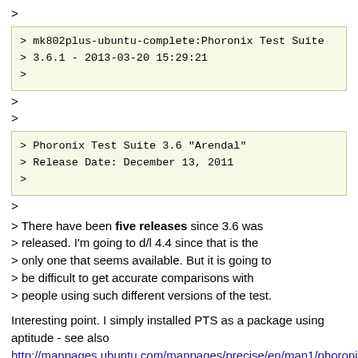>
> mk802plus-ubuntu-complete:Phoronix Test Suite
> 3.6.1 - 2013-03-20 15:29:21
>
>
>
> Phoronix Test Suite 3.6 "Arendal"
> Release Date: December 13, 2011
>
>
> There have been five releases since 3.6 was released. I'm going to d/l 4.4 since that is the only one that seems available. But it is going to be difficult to get accurate comparisons with people using such different versions of the test.
Interesting point. I simply installed PTS as a package using aptitude - see also http://manpages.ubuntu.com/manpages/precise/en/man1/phoronix-test-suite.1.html. Now that I look at the package in Ubuntu Software Center, under Updates is states